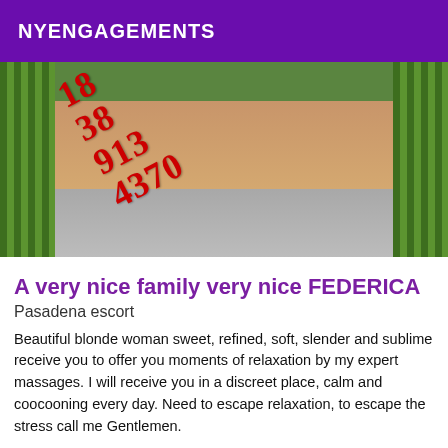NYENGAGEMENTS
[Figure (photo): Photo of a woman in a bikini sitting on grass/concrete steps, with a phone number overlaid in red text]
A very nice family very nice FEDERICA
Pasadena escort
Beautiful blonde woman sweet, refined, soft, slender and sublime receive you to offer you moments of relaxation by my expert massages. I will receive you in a discreet place, calm and coocooning every day. Need to escape relaxation, to escape the stress call me Gentlemen.